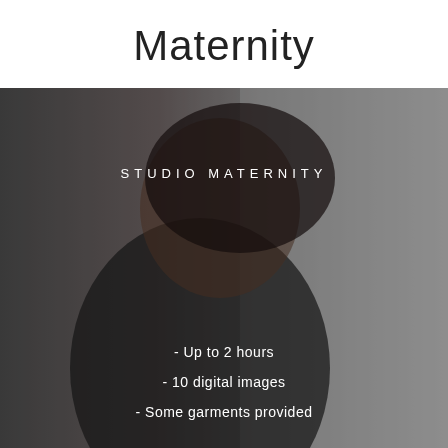Maternity
[Figure (photo): A pregnant woman in a black dress leaning against a light-colored wall, photographed in a studio setting. The image has a dark, moody tone with overlaid text.]
STUDIO MATERNITY
- Up to 2 hours
- 10 digital images
- Some garments provided